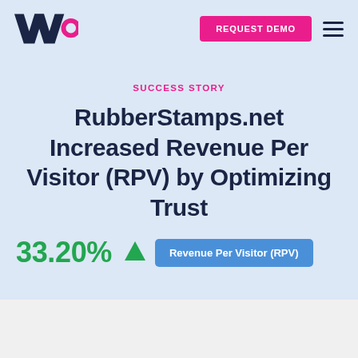VWO | REQUEST DEMO
SUCCESS STORY
RubberStamps.net Increased Revenue Per Visitor (RPV) by Optimizing Trust
33.20% ▲ Revenue Per Visitor (RPV)